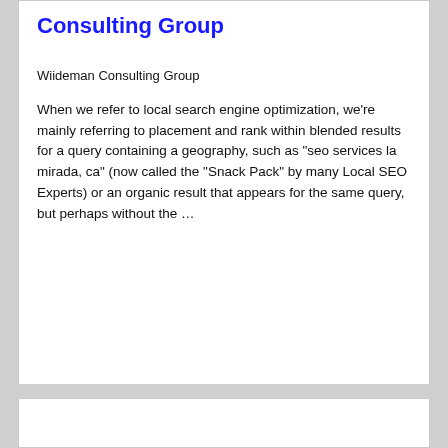Consulting Group
Wiideman Consulting Group
When we refer to local search engine optimization, we’re mainly referring to placement and rank within blended results for a query containing a geography, such as “seo services la mirada, ca” (now called the “Snack Pack” by many Local SEO Experts) or an organic result that appears for the same query, but perhaps without the …